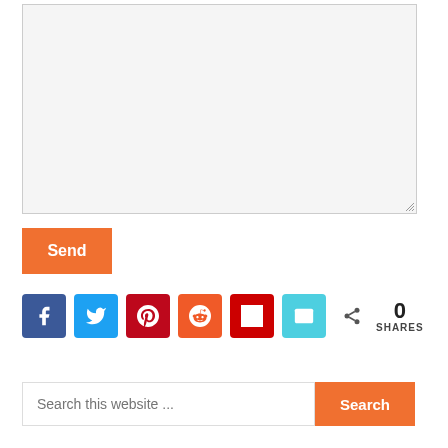[Figure (screenshot): A large empty resizable textarea input box with light gray background and a resize handle at the bottom-right corner.]
Send
[Figure (infographic): A row of 6 social sharing icon buttons: Facebook (blue), Twitter (light blue), Pinterest (red), Reddit (orange-red), Flipboard (dark red), Email (cyan). Followed by a share icon and '0 SHARES' count.]
0 SHARES
Search this website ...